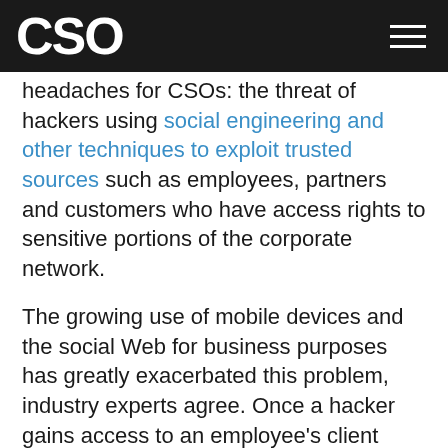CSO
headaches for CSOs: the threat of hackers using social engineering and other techniques to exploit trusted sources such as employees, partners and customers who have access rights to sensitive portions of the corporate network.
The growing use of mobile devices and the social Web for business purposes has greatly exacerbated this problem, industry experts agree. Once a hacker gains access to an employee's client device, "all of sudden you've got malware or a bot trying to communicate via an established connection, back out through your perimeter" to the hacker's control center, says Andrew McCullough, manager of information security for hotel chain operator Accor North America.
Accor's security team deployed an NGFW five years ago, when application-level attacks first started showing up,